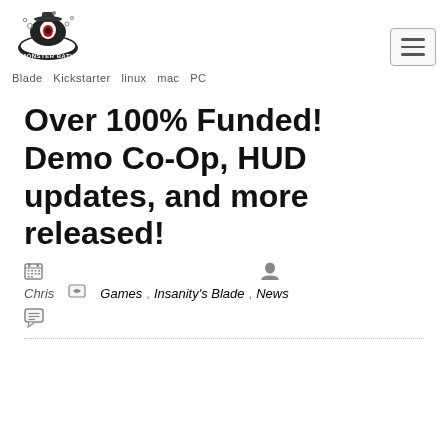[Figure (logo): Monster Bath logo: stylized monster in a bathtub with one eye and small hat]
Blade  Kickstarter  linux  mac  PC
Over 100% Funded! Demo Co-Op, HUD updates, and more released!
Chris   Games  Insanity's Blade  News